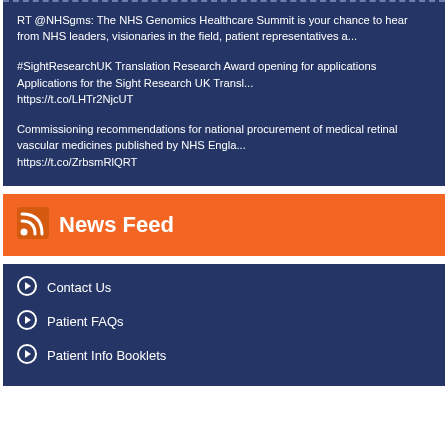RT @NHSgms: The NHS Genomics Healthcare Summit is your chance to hear from NHS leaders, visionaries in the field, patient representatives a...
#SightResearchUK Translation Research Award opening for applications Applications for the Sight Research UK Transl... https://t.co/LHTr2NjcUT
Commissioning recommendations for national procurement of medical retinal vascular medicines published by NHS Engla... https://t.co/ZrbsmRlQRT
News Feed
Contact Us
Patient FAQs
Patient Info Booklets